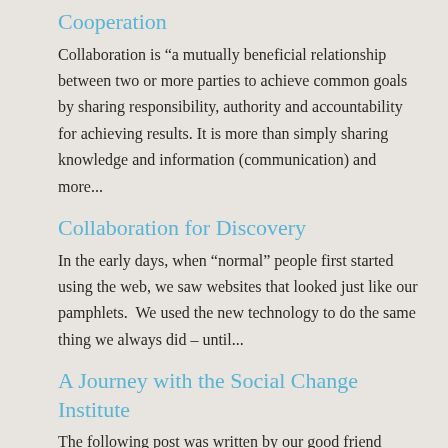Cooperation
Collaboration is “a mutually beneficial relationship between two or more parties to achieve common goals by sharing responsibility, authority and accountability for achieving results. It is more than simply sharing knowledge and information (communication) and more...
Collaboration for Discovery
In the early days, when “normal” people first started using the web, we saw websites that looked just like our pamphlets.  We used the new technology to do the same thing we always did – until...
A Journey with the Social Change Institute
The following post was written by our good friend David Roberts and can be found at Grist.com.  We